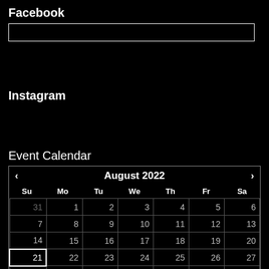Facebook
[Figure (other): Facebook input text box, empty, with white border on black background]
Instagram
Event Calendar
| Su | Mo | Tu | We | Th | Fr | Sa |
| --- | --- | --- | --- | --- | --- | --- |
| 31 | 1 | 2 | 3 | 4 | 5 | 6 |
| 7 | 8 | 9 | 10 | 11 | 12 | 13 |
| 14 | 15 | 16 | 17 | 18 | 19 | 20 |
| 21 | 22 | 23 | 24 | 25 | 26 | 27 |
| 28 | 29 | 30 | 31 | 1 | 2 | 3 |